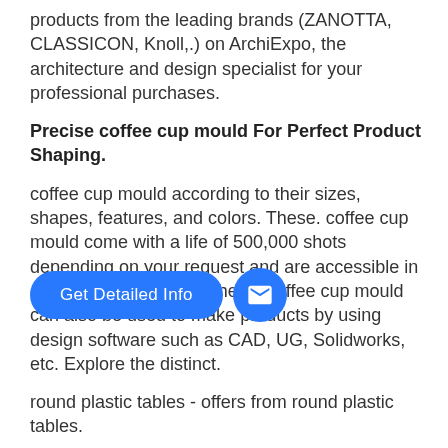products from the leading brands (ZANOTTA, CLASSICON, Knoll,.) on ArchiExpo, the architecture and design specialist for your professional purchases.
Precise coffee cup mould For Perfect Product Shaping.
coffee cup mould according to their sizes, shapes, features, and colors. These. coffee cup mould come with a life of 500,000 shots depending on your request and are accessible in customized sizes too. These. coffee cup mould can also be used to make products by using design software such as CAD, UG, Solidworks, etc. Explore the distinct.
[Figure (infographic): Blue rounded button labeled 'Get Detailed Info' with a blue circular mail icon button to the right, overlaid on the text content.]
round plastic tables - offers from round plastic tables.
EC21 is the largest global B2B marketplace. Global